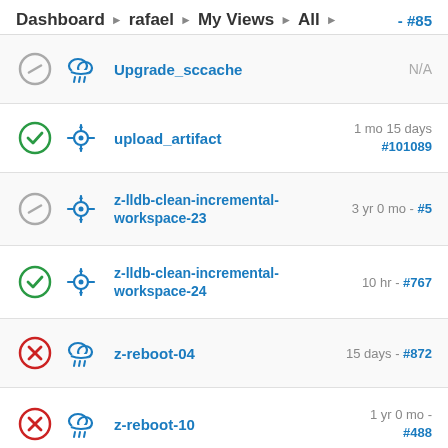Dashboard ▶ rafael ▶ My Views ▶ All ▶
- #85
Upgrade_sccache — N/A
upload_artifact — 1 mo 15 days #101089
z-lldb-clean-incremental-workspace-23 — 3 yr 0 mo - #5...
z-lldb-clean-incremental-workspace-24 — 10 hr - #767
z-reboot-04 — 15 days - #872...
z-reboot-10 — 1 yr 0 mo - #488